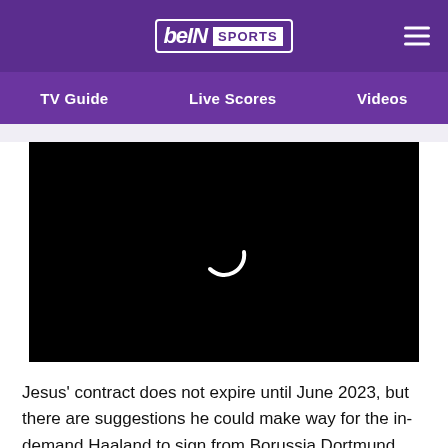[Figure (logo): beIN SPORTS logo in white on purple background with hamburger menu icon]
TV Guide   Live Scores   Videos
[Figure (screenshot): Black video player with loading spinner (white arc/circle) in the center]
Jesus' contract does not expire until June 2023, but there are suggestions he could make way for the in-demand Haaland to sign from Borussia Dortmund.